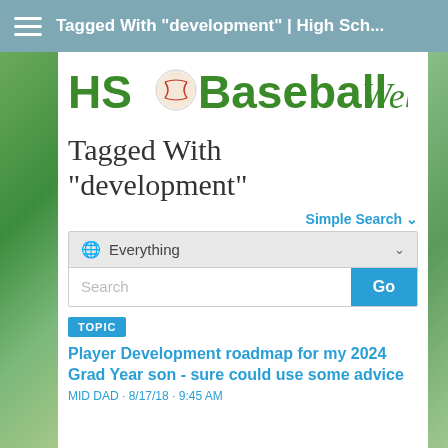Tagged With "development" | High Sch...
[Figure (logo): HS Baseball Web logo with baseball graphic and green text]
Tagged With "development"
Simple Search ∨
Everything
Search  Go
TOPIC
Player Development roadmap for my 2024 Grad Year son - sure could use some advice
MID DAD · 8/17/18 · 9:45 AM